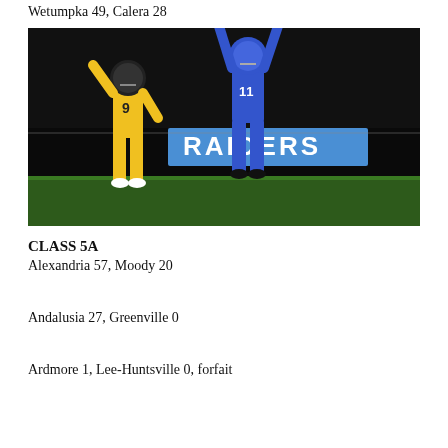Wetumpka 49, Calera 28
[Figure (photo): A football player in blue jersey number 11 leaps to catch a ball while a defender in yellow and black jersey number 9 attempts to defend. A banner reading RAIDERS is visible in the background.]
CLASS 5A
Alexandria 57, Moody 20
Andalusia 27, Greenville 0
Ardmore 1, Lee-Huntsville 0, forfait